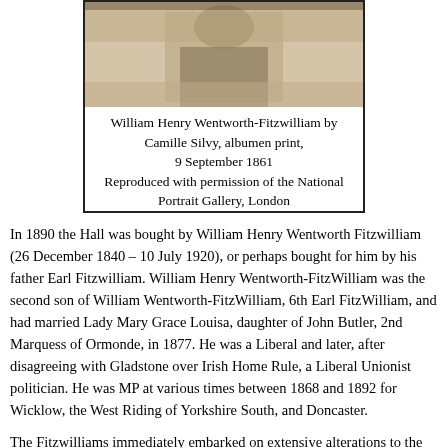[Figure (photo): Historical portrait photograph, partially visible at top — appears to be a sepia/albumen print photograph of a person, cropped at the top of the page.]
William Henry Wentworth-Fitzwilliam by Camille Silvy, albumen print, 9 September 1861 Reproduced with permission of the National Portrait Gallery, London
In 1890 the Hall was bought by William Henry Wentworth Fitzwilliam (26 December 1840 – 10 July 1920), or perhaps bought for him by his father Earl Fitzwilliam. William Henry Wentworth-FitzWilliam was the second son of William Wentworth-FitzWilliam, 6th Earl FitzWilliam, and had married Lady Mary Grace Louisa, daughter of John Butler, 2nd Marquess of Ormonde, in 1877. He was a Liberal and later, after disagreeing with Gladstone over Irish Home Rule, a Liberal Unionist politician. He was MP at various times between 1868 and 1892 for Wicklow, the West Riding of Yorkshire South, and Doncaster.
The Fitzwilliams immediately embarked on extensive alterations to the Hall. In the 1891 census they were temporarily at Cliff Hall in Terrington (owned by the Worsleys, who were in the Lodge – did they move out of the Hall in favour of the Fitzwilliams?). At